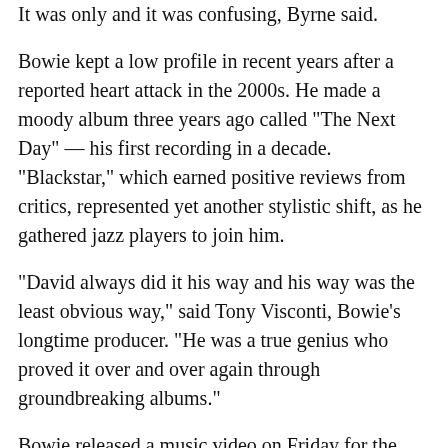It was only and it was confusing, Byrne said.
Bowie kept a low profile in recent years after a reported heart attack in the 2000s. He made a moody album three years ago called "The Next Day" — his first recording in a decade. "Blackstar," which earned positive reviews from critics, represented yet another stylistic shift, as he gathered jazz players to join him.
"David always did it his way and his way was the least obvious way," said Tony Visconti, Bowie's longtime producer. "He was a true genius who proved it over and over again through groundbreaking albums."
Bowie released a music video on Friday for the new song "Lazarus," which shows a frail Bowie lying in bed and singing the track's lyrics. The song begins with the line: "Look up here, I'm in heaven."